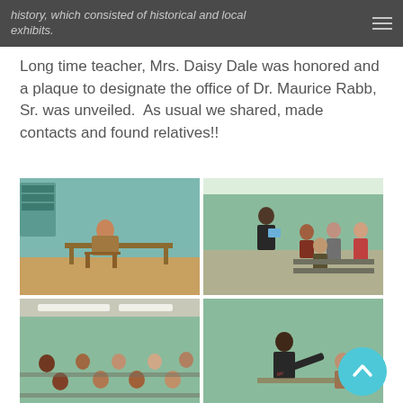history, which consisted of historical and local exhibits.
Long time teacher, Mrs. Daisy Dale was honored and a plaque to designate the office of Dr. Maurice Rabb, Sr. was unveiled.  As usual we shared, made contacts and found relatives!!
[Figure (photo): Four photos from a community event: top-left shows an elderly person sitting at a table in a room with teal walls; top-right shows a person standing and presenting to a group in a lecture hall with teal walls; bottom-left shows a group audience seated in a lecture hall; bottom-right shows a person leaning over a table toward seated attendees.]